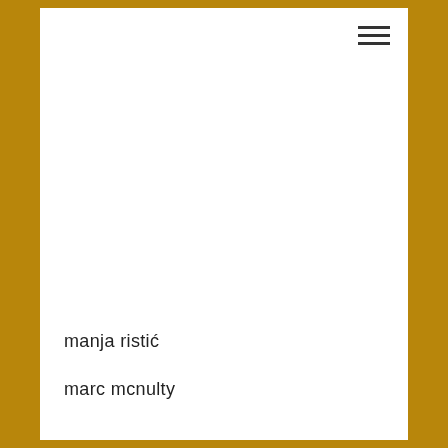[Figure (other): Hamburger menu icon (three horizontal lines) in the top-right area of the white content panel]
manja ristić
marc mcnulty